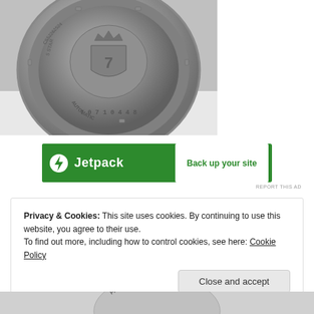[Figure (photo): Close-up photo of the back caseback of a Seiko 5 automatic watch showing the embossed crown logo, '7 Star Automatic' text, serial number 7071044, and reference number CS52262524 around the edge.]
[Figure (other): Jetpack advertisement banner with green background showing Jetpack logo/icon on the left and 'Back up your site' call to action on the right in a white button.]
REPORT THIS AD
Privacy & Cookies: This site uses cookies. By continuing to use this website, you agree to their use.
To find out more, including how to control cookies, see here: Cookie Policy
[Figure (photo): Partial photo of another watch showing 'PARA WATER' text engraved on the caseback, only the bottom portion visible.]